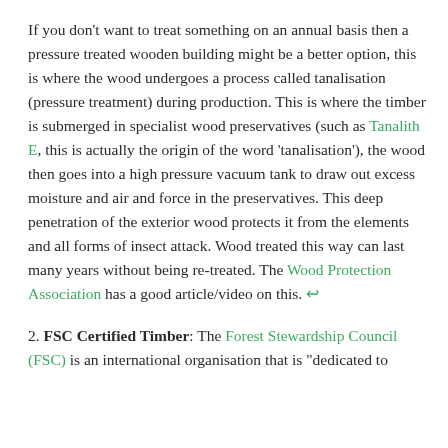If you don't want to treat something on an annual basis then a pressure treated wooden building might be a better option, this is where the wood undergoes a process called tanalisation (pressure treatment) during production. This is where the timber is submerged in specialist wood preservatives (such as Tanalith E, this is actually the origin of the word 'tanalisation'), the wood then goes into a high pressure vacuum tank to draw out excess moisture and air and force in the preservatives. This deep penetration of the exterior wood protects it from the elements and all forms of insect attack. Wood treated this way can last many years without being re-treated. The Wood Protection Association has a good article/video on this. ↩
2. FSC Certified Timber: The Forest Stewardship Council (FSC) is an international organisation that is "dedicated to